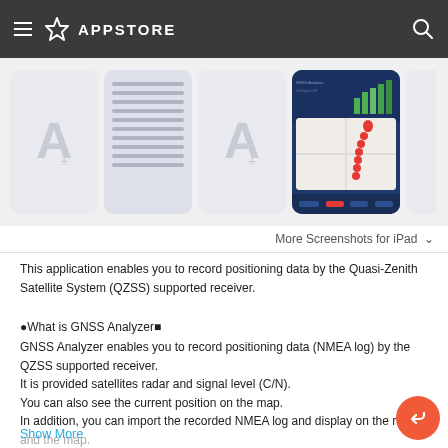APPSTORE
[Figure (screenshot): App Store screenshots strip showing 4 app thumbnails: two placeholder icons with an 'A' logo, one text/list screenshot, and one app screenshot showing a map with red pins and a satellite signal bar chart on a dark blue background.]
More Screenshots for iPad ∨
This application enables you to record positioning data by the Quasi-Zenith Satellite System (QZSS) supported receiver.
●What is GNSS Analyzer■
GNSS Analyzer enables you to record positioning data (NMEA log) by the QZSS supported receiver.
It is provided satellites radar and signal level (C/N).
You can also see the current position on the map.
In addition, you can import the recorded NMEA log and display on the radar and the map.
Show More